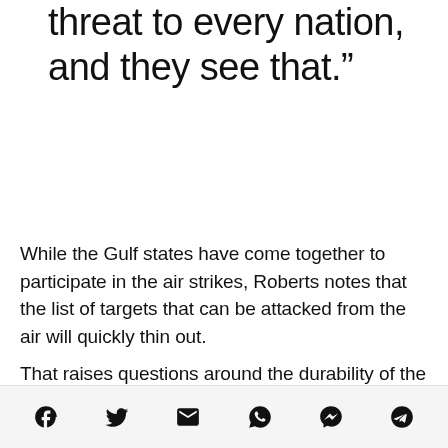threat to every nation, and they see that.”
While the Gulf states have come together to participate in the air strikes, Roberts notes that the list of targets that can be attacked from the air will quickly thin out.
That raises questions around the durability of the newly formed military coalition, and whether a
Social share icons: Facebook, Twitter, Email, WhatsApp, Messenger, Telegram